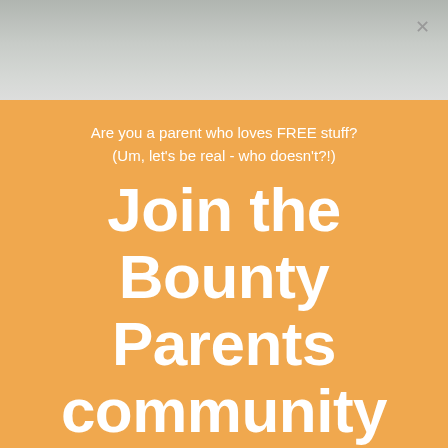[Figure (photo): Light gray background photo (baby/child partially visible at top center), with a close/dismiss X button in the top right corner]
Are you a parent who loves FREE stuff? (Um, let's be real - who doesn't?!)
Join the Bounty Parents community and be rewarded!